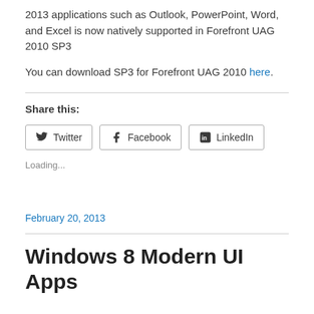2013 applications such as Outlook, PowerPoint, Word, and Excel is now natively supported in Forefront UAG 2010 SP3
You can download SP3 for Forefront UAG 2010 here.
Share this:
Twitter Facebook LinkedIn
Loading...
February 20, 2013
Windows 8 Modern UI Apps